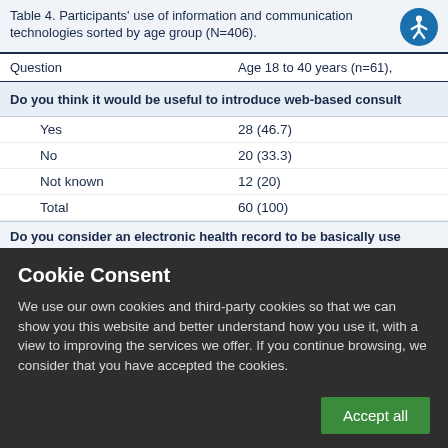Table 4. Participants' use of information and communication technologies sorted by age group (N=406).
| Question | Age 18 to 40 years (n=61), |
| --- | --- |
| Do you think it would be useful to introduce web-based consult… |  |
| Yes | 28 (46.7) |
| No | 20 (33.3) |
| Not known | 12 (20) |
| Total | 60 (100) |
| Do you consider an electronic health record to be basically use… |  |
Cookie Consent
We use our own cookies and third-party cookies so that we can show you this website and better understand how you use it, with a view to improving the services we offer. If you continue browsing, we consider that you have accepted the cookies.